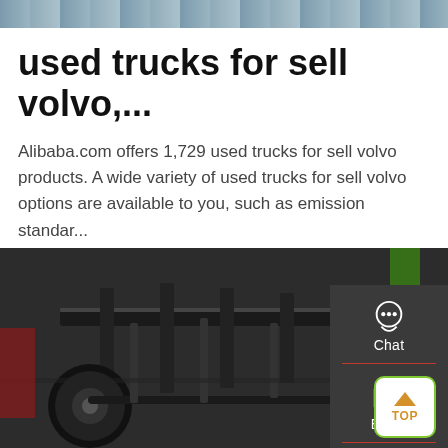[Figure (photo): Top strip image showing a blurred outdoor/truck background]
used trucks for sell volvo,...
Alibaba.com offers 1,729 used trucks for sell volvo products. A wide variety of used trucks for sell volvo options are available to you, such as emission standar...
[Figure (other): Green 'Get a Quote' button]
[Figure (photo): Underside/chassis of a Volvo truck, showing axles, wheels and frame components]
[Figure (infographic): Dark sidebar with Chat (headset icon), Email (envelope icon), and Contact (speech bubble icon) options, plus a TOP (scroll-to-top) button]